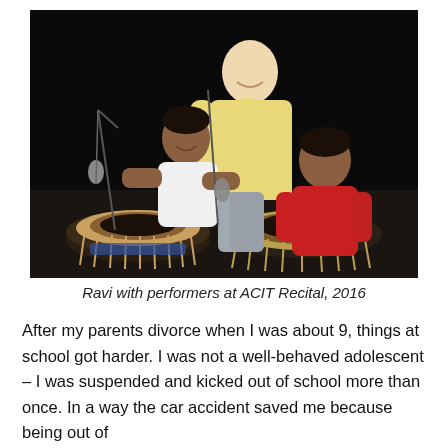[Figure (photo): A photograph of Ravi with two young boys performing with tabla drums on a stage against a black background. The adult (Ravi) in a yellow shirt stands behind, smiling, with his hand on one of the boys' shoulders. One boy wears a white shirt and the other wears a red shirt. There are microphone stands near the drums.]
Ravi with performers at ACIT Recital, 2016
After my parents divorce when I was about 9, things at school got harder. I was not a well-behaved adolescent – I was suspended and kicked out of school more than once. In a way the car accident saved me because being out of